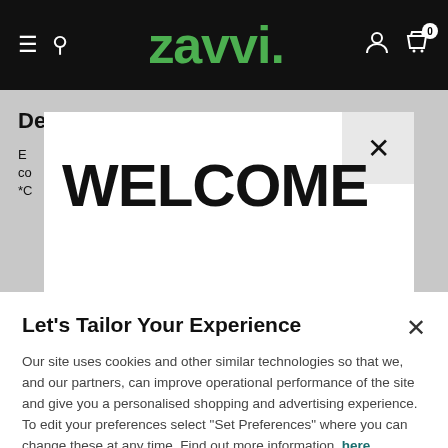ZAVVI navigation bar with hamburger menu, search icon, Zavvi logo, user icon, and cart icon with badge 0
Delivery & Returns
E... co... *C...
WELCOME
If it looks like you're in the USA and you'd like to...
Let's Tailor Your Experience
Our site uses cookies and other similar technologies so that we, and our partners, can improve operational performance of the site and give you a personalised shopping and advertising experience. To edit your preferences select "Set Preferences" where you can change these at any time. Find out more information here.
Set Preferences
That's OK